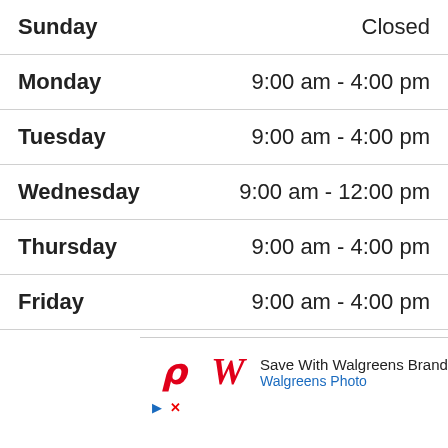| Day | Hours |
| --- | --- |
| Sunday | Closed |
| Monday | 9:00 am - 4:00 pm |
| Tuesday | 9:00 am - 4:00 pm |
| Wednesday | 9:00 am - 12:00 pm |
| Thursday | 9:00 am - 4:00 pm |
| Friday | 9:00 am - 4:00 pm |
[Figure (other): Walgreens advertisement banner: Save With Walgreens Brand - Walgreens Photo, with Walgreens logo and navigation arrow icon]